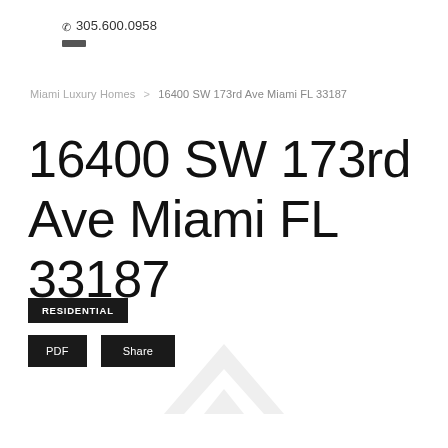☎ 305.600.0958
Miami Luxury Homes > 16400 SW 173rd Ave Miami FL 33187
16400 SW 173rd Ave Miami FL 33187
RESIDENTIAL
PDF   Share